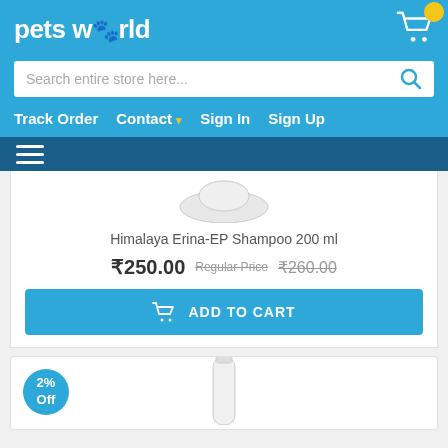[Figure (logo): Pets World logo with paw print icon in white text on blue background]
Search entire store here...
Track Order   Contact ▾   Sign In   Sign Up
[Figure (screenshot): Hamburger menu icon (three horizontal white lines) on dark blue background]
[Figure (photo): Himalaya Erina-EP Shampoo 200 ml product image, white bottle]
Himalaya Erina-EP Shampoo 200 ml
₹250.00   Regular Price   ₹260.00
ADD TO CART
2% Off
[Figure (photo): Second product image, white bottle partially visible]